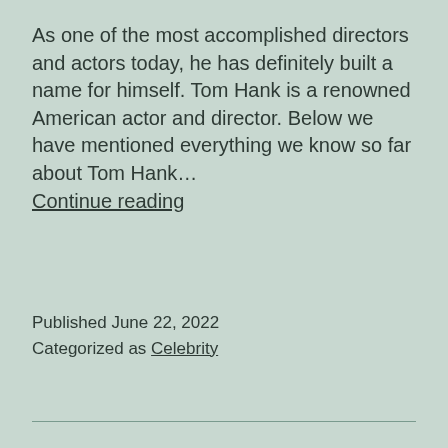As one of the most accomplished directors and actors today, he has definitely built a name for himself. Tom Hank is a renowned American actor and director. Below we have mentioned everything we know so far about Tom Hank… Continue reading
Published June 22, 2022
Categorized as Celebrity